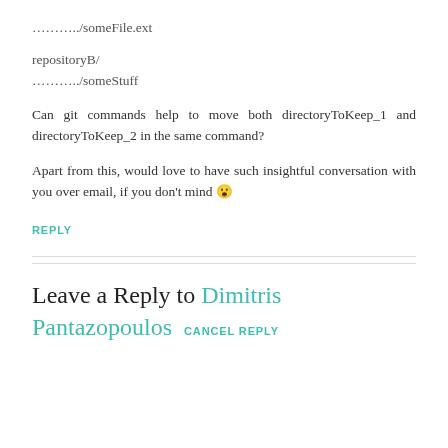………../someFile.ext
repositoryB/
………../someStuff
Can git commands help to move both directoryToKeep_1 and directoryToKeep_2 in the same command?
Apart from this, would love to have such insightful conversation with you over email, if you don't mind 🙂
REPLY
Leave a Reply to Dimitris Pantazopoulos   CANCEL REPLY